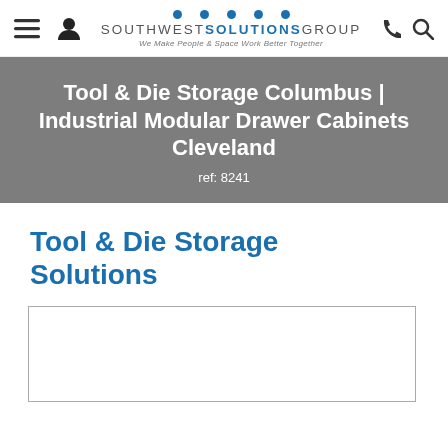Southwest Solutions Group — We Make People & Space Work Better Together
Tool & Die Storage Columbus | Industrial Modular Drawer Cabinets Cleveland
ref: 8241
Tool & Die Storage Solutions
[Figure (other): Image placeholder box with border (content area for a photo or illustration)]